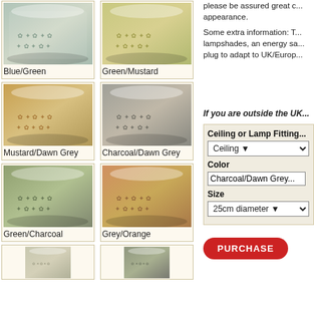[Figure (photo): Lampshade photo - Blue/Green botanical print]
Blue/Green
[Figure (photo): Lampshade photo - Green/Mustard botanical print]
Green/Mustard
please be assured great c... appearance.
Some extra information: T... lampshades, an energy sa... plug to adapt to UK/Europ...
[Figure (photo): Lampshade photo - Mustard/Dawn Grey botanical print]
Mustard/Dawn Grey
[Figure (photo): Lampshade photo - Charcoal/Dawn Grey botanical print]
Charcoal/Dawn Grey
If you are outside the UK...
[Figure (photo): Lampshade photo - Green/Charcoal botanical print]
Green/Charcoal
[Figure (photo): Lampshade photo - Grey/Orange botanical print]
Grey/Orange
| Field | Value |
| --- | --- |
| Ceiling or Lamp Fitting | Ceiling |
| Color | Charcoal/Dawn Grey |
| Size | 25cm diameter |
[Figure (photo): Lampshade photo - bottom row left]
[Figure (photo): Lampshade photo - bottom row right]
PURCHASE